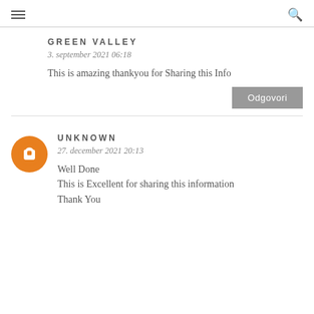☰  🔍
GREEN VALLEY
3. september 2021 06:18
This is amazing thankyou for Sharing this Info
Odgovori
UNKNOWN
27. december 2021 20:13
Well Done
This is Excellent for sharing this information
Thank You